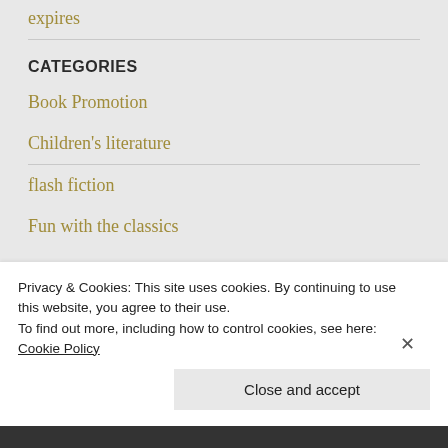expires
CATEGORIES
Book Promotion
Children's literature
flash fiction
Fun with the classics
Privacy & Cookies: This site uses cookies. By continuing to use this website, you agree to their use.
To find out more, including how to control cookies, see here: Cookie Policy
Close and accept